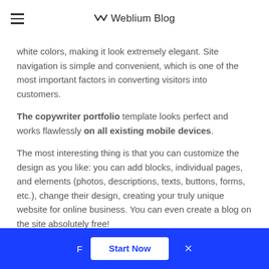Weblium Blog
white colors, making it look extremely elegant. Site navigation is simple and convenient, which is one of the most important factors in converting visitors into customers.
The copywriter portfolio template looks perfect and works flawlessly on all existing mobile devices.
The most interesting thing is that you can customize the design as you like: you can add blocks, individual pages, and elements (photos, descriptions, texts, buttons, forms, etc.), change their design, creating your truly unique website for online business. You can even create a blog on the site absolutely free!
F  Start Now  ×